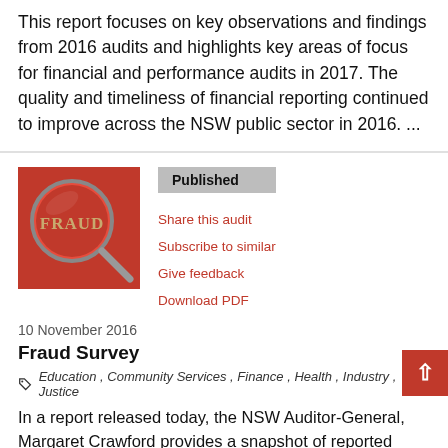This report focuses on key observations and findings from 2016 audits and highlights key areas of focus for financial and performance audits in 2017. The quality and timeliness of financial reporting continued to improve across the NSW public sector in 2016. ...
Published
Share this audit
Subscribe to similar
Give feedback
Download PDF
[Figure (photo): Red magnifying glass over the word FRAUD in gold letters]
10 November 2016
Fraud Survey
Education , Community Services , Finance , Health , Industry , Justice
In a report released today, the NSW Auditor-General, Margaret Crawford provides a snapshot of reported fraud in the NSW public sector and an analysis of NSW Government agencies' fraud controls based on a